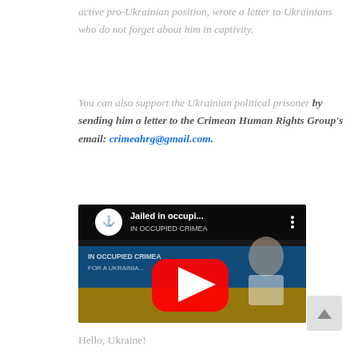active pro-Ukrainian position, wrote a letter to Ukrainians who do not forget about him in captivity.
You can also support the Ukrainian political prisoner by sending him a letter to the Crimean Human Rights Group's email: crimeahrg@gmail.com.
[Figure (screenshot): YouTube video thumbnail showing a man in a white t-shirt against a Ukrainian flag background, with the YouTube play button overlay and title 'Jailed in occupi...' with the channel logo visible in the top left.]
Hello, Ukraine!